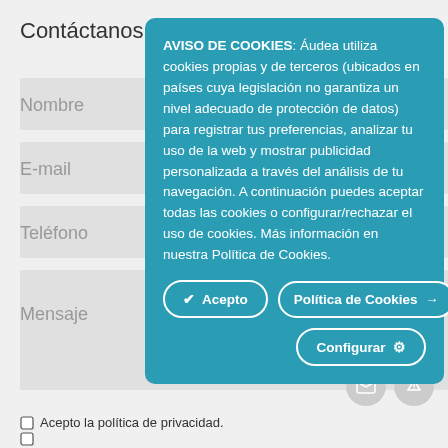Contáctanos
Nombre
E-mail
Teléfono
Mensaje
AVISO DE COOKIES: Áudea utiliza cookies propias y de terceros (ubicados en países cuya legislación no garantiza un nivel adecuado de protección de datos) para registrar tus preferencias, analizar tu uso de la web y mostrar publicidad personalizada a través del análisis de tu navegación. A continuación puedes aceptar todas las cookies o configurar/rechazar el uso de cookies. Más información en nuestra Política de Cookies.
✔ Acepto
Política de Cookies →
Configurar ⚙
Acepto la política de privacidad.